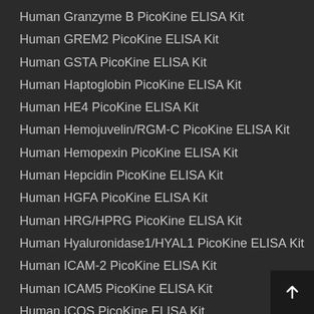Human Granzyme B PicoKine ELISA Kit
Human GREM2 PicoKine ELISA Kit
Human GSTA PicoKine ELISA Kit
Human Haptoglobin PicoKine ELISA Kit
Human HE4 PicoKine ELISA Kit
Human Hemojuvelin/RGM-C PicoKine ELISA Kit
Human Hemopexin PicoKine ELISA Kit
Human Hepcidin PicoKine ELISA Kit
Human HGFA PicoKine ELISA Kit
Human HRG/HPRG PicoKine ELISA Kit
Human Hyaluronidase1/HYAL1 PicoKine ELISA Kit
Human ICAM-2 PicoKine ELISA Kit
Human ICAM5 PicoKine ELISA Kit
Human ICOS PicoKine ELISA Kit
Human IDS PicoKine ELISA Kit
Human IGF2R PicoKine ELISA Kit
Human IL-18BP PicoKine ELISA Kit
Human IL-18R1 PicoKine ELISA Kit